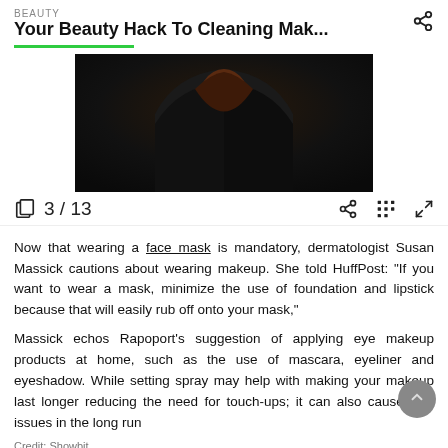BEAUTY
Your Beauty Hack To Cleaning Mak...
[Figure (photo): Dark photo showing a person wearing a black leather outfit with a rust/brown inner garment visible at the neck area.]
3 / 13
Now that wearing a face mask is mandatory, dermatologist Susan Massick cautions about wearing makeup. She told HuffPost: "If you want to wear a mask, minimize the use of foundation and lipstick because that will easily rub off onto your mask,"
Massick echos Rapoport’s suggestion of applying eye makeup products at home, such as the use of mascara, eyeliner and eyeshadow. While setting spray may help with making your makeup last longer reducing the need for touch-ups; it can also cause skin issues in the long run
Credit: Showbit